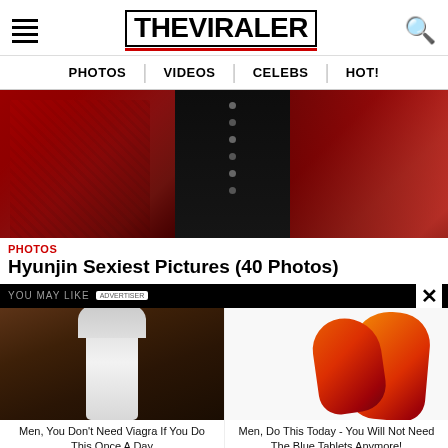THE VIRALER — PHOTOS | VIDEOS | CELEBS | HOT!
[Figure (photo): Close-up of red and black clothing/costume with buttons]
PHOTOS
Hyunjin Sexiest Pictures (40 Photos)
YOU MAY LIKE • ADVERTISER
[Figure (photo): White mushroom-like object on brown dirt background - ad image]
Men, You Don't Need Viagra If You Do This Once A Day
[Figure (photo): Red/orange pepper-like objects on white background - ad image]
Men, Do This Today - You Will Not Need The Blue Tablets Anymore!